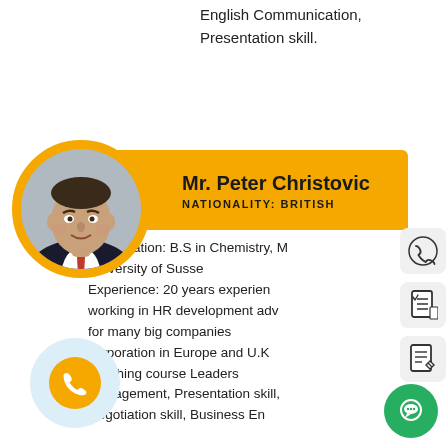English Communication, Presentation skill.
Mr. Peter Christovic
NATIONALITY: BRITISH
Qualification: B.S in Chemistry, M University of Susse Experience: 20 years experien working in HR development adv for many big companies corporation in Europe and U.K Teaching course Leaders management, Presentation skill, Negotiation skill, Business En
[Figure (photo): Portrait photo of Mr. Peter Christovic in a suit with red tie]
[Figure (illustration): Phone icon in orange circle on light blue background]
[Figure (illustration): Phone icon top right]
[Figure (illustration): Document checklist icon]
[Figure (illustration): Document edit icon]
[Figure (illustration): Green chat bubble icon bottom right]